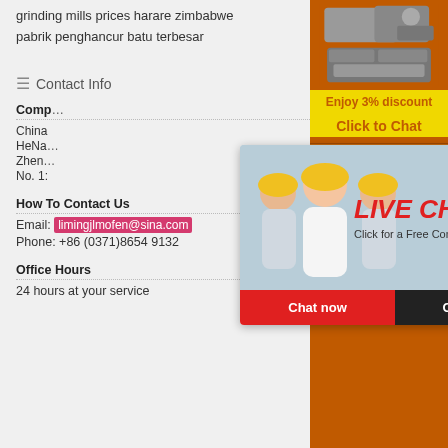grinding mills prices harare zimbabwe
pabrik penghancur batu terbesar
Contact Info
Company Name: China, HeNan, ZhengZhou, No. 1:
How To Contact Us
Email: limingjlmofen@sina.com
Phone: +86 (0371)8654 9132
Office Hours
24 hours at your service
[Figure (screenshot): Live chat overlay with workers in hard hats, red LIVE CHAT text, Chat now and Chat later buttons]
[Figure (infographic): Orange sidebar with mining machinery images, Enjoy 3% discount, Click to Chat, Enquiry button, and limingjlmofen@sina.com contact]